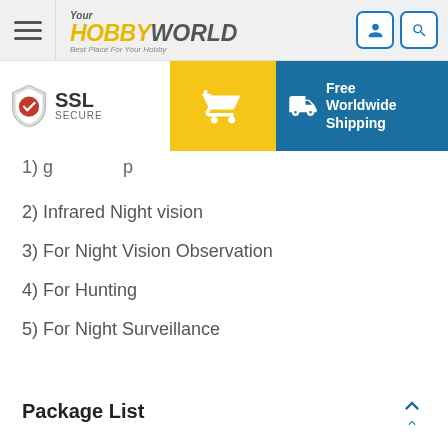[Figure (screenshot): Website header with hamburger menu, YourHobbyWorld logo, user icon and search icon]
[Figure (screenshot): Banner bar with SSL Secure badge, yellow shopping cart button, and blue Free Worldwide Shipping section]
1) [partially visible item]
2) Infrared Night vision
3) For Night Vision Observation
4) For Hunting
5) For Night Surveillance
Package List